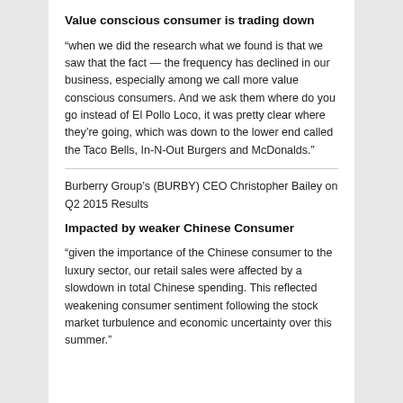Value conscious consumer is trading down
“when we did the research what we found is that we saw that the fact — the frequency has declined in our business, especially among we call more value conscious consumers. And we ask them where do you go instead of El Pollo Loco, it was pretty clear where they’re going, which was down to the lower end called the Taco Bells, In-N-Out Burgers and McDonalds.”
Burberry Group’s (BURBY) CEO Christopher Bailey on Q2 2015 Results
Impacted by weaker Chinese Consumer
“given the importance of the Chinese consumer to the luxury sector, our retail sales were affected by a slowdown in total Chinese spending. This reflected weakening consumer sentiment following the stock market turbulence and economic uncertainty over this summer.”